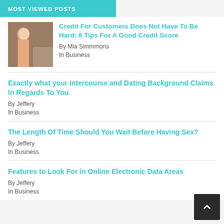MOST VIEWED POSTS
Credit For Customers Does Not Have To Be Hard: 8 Tips For A Good Credit Score
By Mia Simmmons
In Business
Exactly what your Intercourse and Dating Background Claims In Regards To You
By Jeffery
In Business
The Length Of Time Should You Wait Before Having Sex?
By Jeffery
In Business
Features to Look For in Online Electronic Data Areas
By Jeffery
In Business